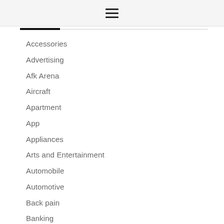Accessories
Advertising
Afk Arena
Aircraft
Apartment
App
Appliances
Arts and Entertainment
Automobile
Automotive
Back pain
Banking